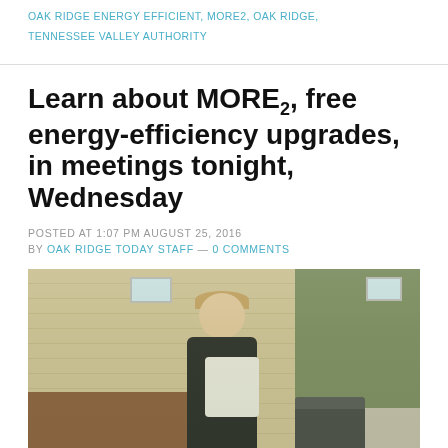OAK RIDGE ENERGY EFFICIENT, MORE2, OAK RIDGE, TENNESSEE VALLEY AUTHORITY
Learn about MORE2, free energy-efficiency upgrades, in meetings tonight, Wednesday
POSTED AT 1:07 PM AUGUST 25, 2016
BY OAK RIDGE TODAY STAFF — 0 COMMENTS
[Figure (photo): Woman standing outside a house next to an air conditioning unit, with horizontal siding visible in the background]